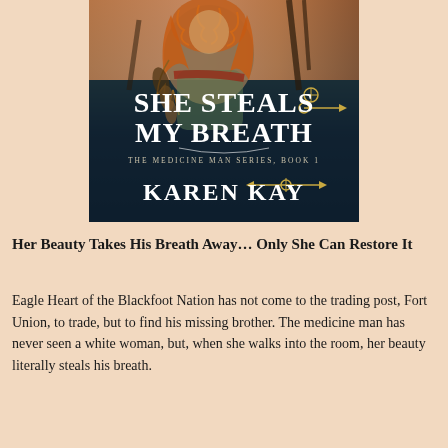[Figure (illustration): Book cover for 'She Steals My Breath' by Karen Kay, The Medicine Man Series Book 1. Shows a woman with flowing hair and feathered accessories against a dark dramatic background with decorative arrow motifs.]
Her Beauty Takes His Breath Away... Only She Can Restore It
Eagle Heart of the Blackfoot Nation has not come to the trading post, Fort Union, to trade, but to find his missing brother. The medicine man has never seen a white woman, but, when she walks into the room, her beauty literally steals his breath.